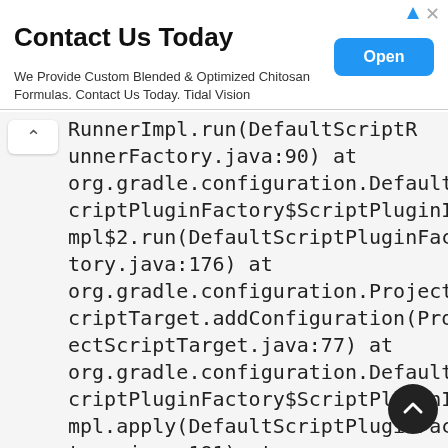[Figure (screenshot): Advertisement banner with title 'Contact Us Today', body text about Chitosan Formulas, an 'Open' button, and close/ad icons]
RunnerImpl.run(DefaultScriptRunnerFactory.java:90) at org.gradle.configuration.DefaultScriptPluginFactory$ScriptPluginImpl$2.run(DefaultScriptPluginFactory.java:176) at org.gradle.configuration.ProjectScriptTarget.addConfiguration(ProjectScriptTarget.java:77) at org.gradle.configuration.DefaultScriptPluginFactory$ScriptPluginImpl.apply(DefaultScriptPluginFactory.java:181) at org.gradle.configuration.project.BuildScriptProcessor.execute(Build